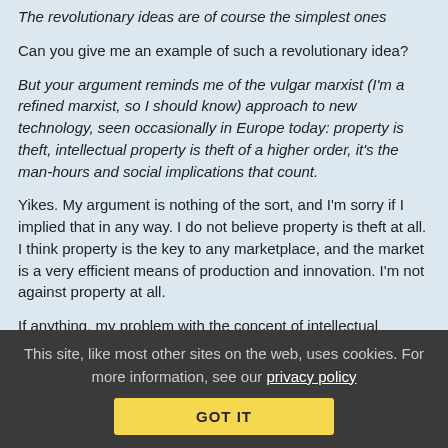The revolutionary ideas are of course the simplest ones
Can you give me an example of such a revolutionary idea?
But your argument reminds me of the vulgar marxist (I'm a refined marxist, so I should know) approach to new technology, seen occasionally in Europe today: property is theft, intellectual property is theft of a higher order, it's the man-hours and social implications that count.
Yikes. My argument is nothing of the sort, and I'm sorry if I implied that in any way. I do not believe property is theft at all. I think property is the key to any marketplace, and the market is a very efficient means of production and innovation. I'm not against property at all.
If anything, my problem with the concept of intellectual property is that it's about as anti-free market as you can get. You have a government setting up an *artificial* monopoly. That leads to
This site, like most other sites on the web, uses cookies. For more information, see our privacy policy
GOT IT